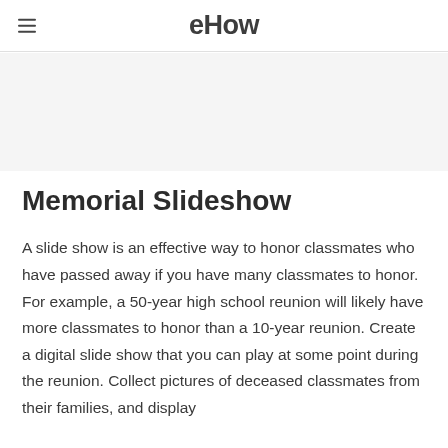eHow
[Figure (other): Gray banner/advertisement area below the eHow header]
Memorial Slideshow
A slide show is an effective way to honor classmates who have passed away if you have many classmates to honor. For example, a 50-year high school reunion will likely have more classmates to honor than a 10-year reunion. Create a digital slide show that you can play at some point during the reunion. Collect pictures of deceased classmates from their families, and display